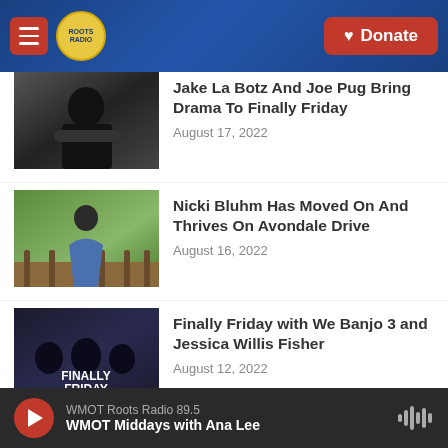WMOT Roots Radio — navigation header with menu button, logo, and Donate button
Jake La Botz And Joe Pug Bring Drama To Finally Friday
August 17, 2022
Nicki Bluhm Has Moved On And Thrives On Avondale Drive
August 16, 2022
Finally Friday with We Banjo 3 and Jessica Willis Fisher
August 12, 2022
Finally Friday Leans Celtic With We Banjo 3 and Jessica Willis Fisher
WMOT Roots Radio 89.5 — WMOT Middays with Ana Lee